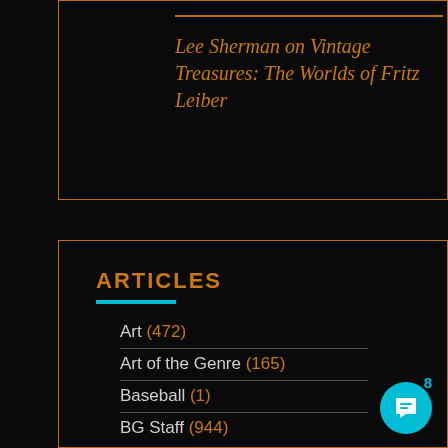Lee Sherman on Vintage Treasures: The Worlds of Fritz Leiber
ARTICLES
Art (472)
Art of the Genre (165)
Baseball (1)
BG Staff (944)
Black Gate Goes to Summer Movies (36)